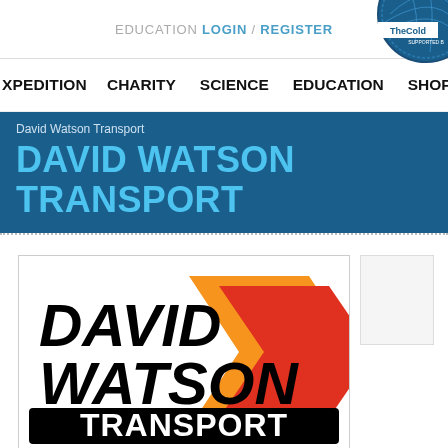EDUCATION LOGIN / REGISTER
XPEDITION   CHARITY   SCIENCE   EDUCATION   SHOP
David Watson Transport
DAVID WATSON TRANSPORT
[Figure (logo): David Watson Transport logo: bold black italic text 'DAVID WATSON' with orange and red chevron arrows, and 'TRANSPORT' in white bold text on black background banner]